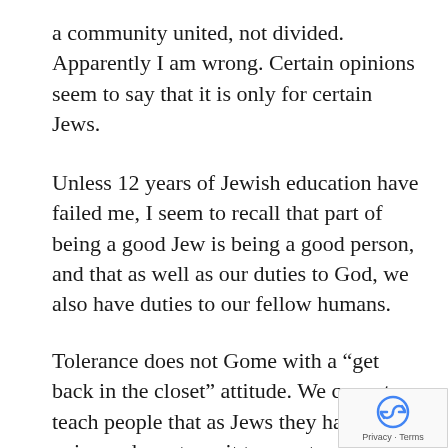a community united, not divided. Apparently I am wrong. Certain opinions seem to say that it is only for certain Jews.
Unless 12 years of Jewish education have failed me, I seem to recall that part of being a good Jew is being a good person, and that as well as our duties to God, we also have duties to our fellow humans.
Tolerance does not Gome with a “get back in the closet” attitude. We cannot teach people that as Jews they have a voice and must use it to counter prejudice, but as homosexual Jews they must be silent.